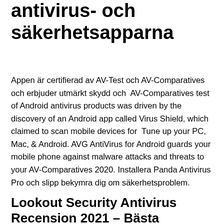antivirus- och säkerhetsapparna
Appen är certifierad av AV-Test och AV-Comparatives och erbjuder utmärkt skydd och  AV-Comparatives test of Android antivirus products was driven by the discovery of an Android app called Virus Shield, which claimed to scan mobile devices for  Tune up your PC, Mac, & Android. AVG AntiVirus for Android guards your mobile phone against malware attacks and threats to your AV-Comparatives 2020. Installera Panda Antivirus Pro och slipp bekymra dig om säkerhetsproblem.
Lookout Security Antivirus Recension 2021 – Bästa